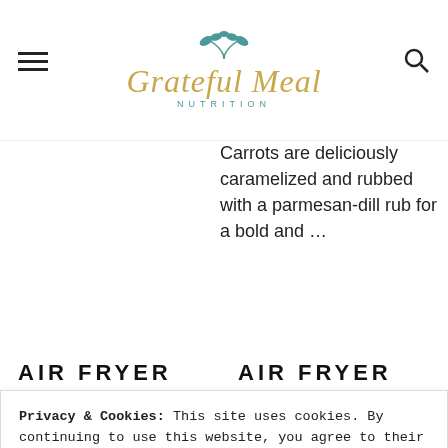[Figure (logo): Grateful Meal Nutrition logo with teal leaf illustration, gold script text 'Grateful Meal', and teal 'NUTRITION' subtitle]
Carrots are deliciously caramelized and rubbed with a parmesan-dill rub for a bold and …
AIR FRYER
AIR FRYER
Privacy & Cookies: This site uses cookies. By continuing to use this website, you agree to their use. To find out more, including how to control cookies, see here: Privacy Policy
Close and accept
in a crab cake. Lots of crab meat and just …
crunchy, and easy to make. They're a great side …